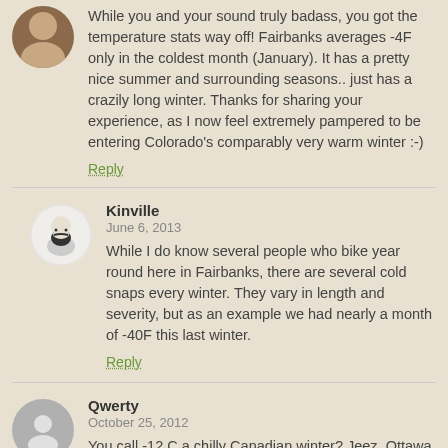While you and your sound truly badass, you got the temperature stats way off! Fairbanks averages -4F only in the coldest month (January). It has a pretty nice summer and surrounding seasons.. just has a crazily long winter. Thanks for sharing your experience, as I now feel extremely pampered to be entering Colorado's comparably very warm winter :-)
Reply
Kinville
June 6, 2013
While I do know several people who bike year round here in Fairbanks, there are several cold snaps every winter. They vary in length and severity, but as an example we had nearly a month of -40F this last winter.
Reply
Qwerty
October 25, 2012
You call -12 C a chilly Canadian winter? Jeez, Ottawa is